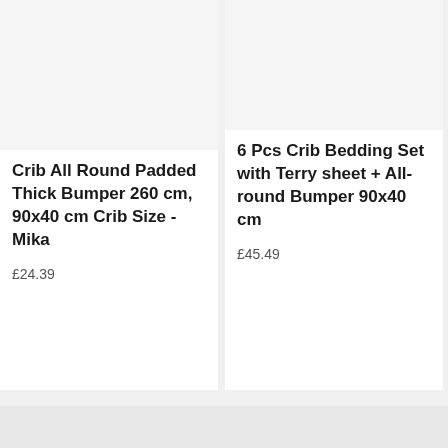Crib All Round Padded Thick Bumper 260 cm, 90x40 cm Crib Size - Mika
£24.39
6 Pcs Crib Bedding Set with Terry sheet + All-round Bumper 90x40 cm
£45.49